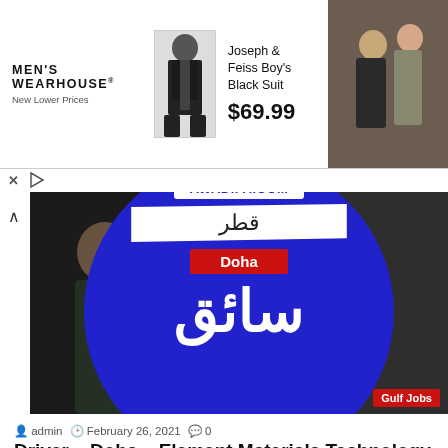[Figure (infographic): Men's Wearhouse advertisement banner with Joseph & Feiss Boy's Black Suit for $69.99, with suit photo and couple photo on right]
[Figure (infographic): Awadifa.com job posting image with blue circle, Arabic text for Qatar (قطر), Doha badge in red, and large Arabic text for Driver (سائق), Gulf Jobs tag in red bottom right]
admin  February 26, 2021  0
Driver – Doha – Element Materials Technology
Job Type:Full-timeIndustry:Aerospace & DefenseSize:5001 to 10000 Employees Overview: Element has an opportunity for a Driver to be a